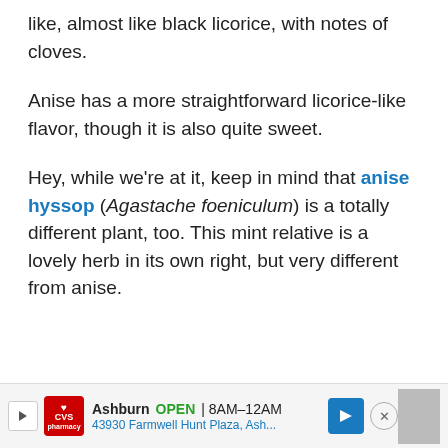like, almost like black licorice, with notes of cloves.
Anise has a more straightforward licorice-like flavor, though it is also quite sweet.
Hey, while we're at it, keep in mind that anise hyssop (Agastache foeniculum) is a totally different plant, too. This mint relative is a lovely herb in its own right, but very different from anise.
[Figure (infographic): CVS Pharmacy advertisement banner showing store location in Ashburn, open 8AM-12AM, address 43930 Farmwell Hunt Plaza, Ash...]